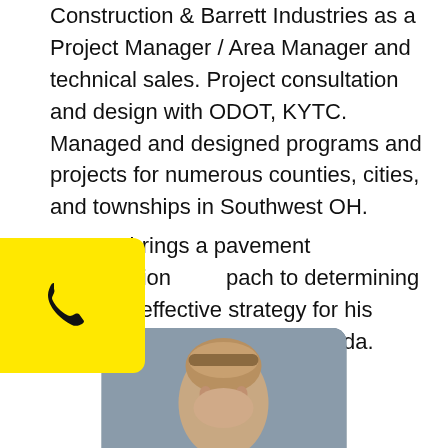Construction & Barrett Industries as a Project Manager / Area Manager and technical sales. Project consultation and design with ODOT, KYTC. Managed and designed programs and projects for numerous counties, cities, and townships in Southwest OH.
[Figure (other): Yellow phone call button overlaid on left side of page]
brings a pavement preservation approach to determining the most effective strategy for his customers in South West Florida.
[Figure (photo): Portrait photo of a person, partially visible, showing top of head with light hair against a grey background]